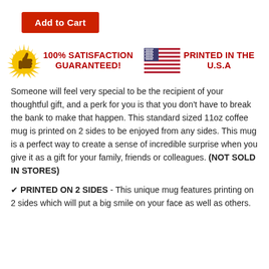Add to Cart
[Figure (infographic): 100% Satisfaction Guaranteed badge with thumbs up icon and USA flag with PRINTED IN THE U.S.A text]
Someone will feel very special to be the recipient of your thoughtful gift, and a perk for you is that you don't have to break the bank to make that happen. This standard sized 11oz coffee mug is printed on 2 sides to be enjoyed from any sides. This mug is a perfect way to create a sense of incredible surprise when you give it as a gift for your family, friends or colleagues. (NOT SOLD IN STORES)
✔ PRINTED ON 2 SIDES - This unique mug features printing on 2 sides which will put a big smile on your face as well as others.